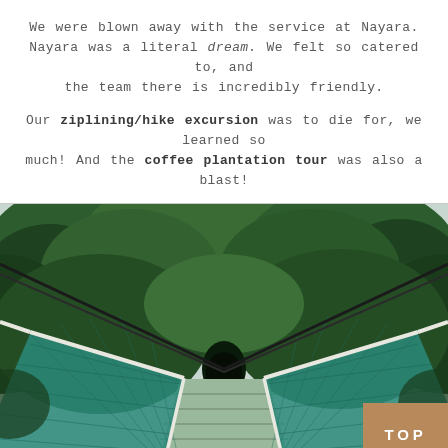We were blown away with the service at Nayara. Nayara was a literal dream. We felt so catered to, and the team there is incredibly friendly.

Our ziplining/hike excursion was to die for, we learned so much! And the coffee plantation tour was also a blast!
[Figure (photo): A suspension bridge with teal/green rope netting stretching into a lush tropical rainforest. The bridge has white metal handrails and teal net sides, leading into dense green canopy. A tan/brown 'TOP' badge overlay appears in the lower right corner.]